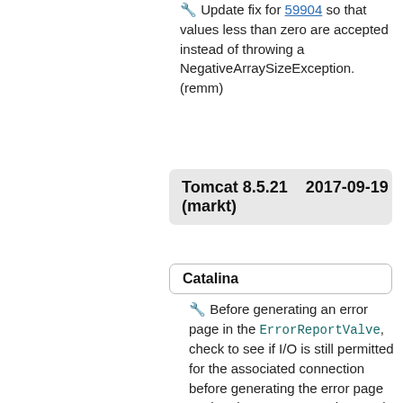🔧 Update fix for 59904 so that values less than zero are accepted instead of throwing a NegativeArraySizeException. (remm)
Tomcat 8.5.21 (markt)   2017-09-19
Catalina
🔧 Before generating an error page in the ErrorReportValve, check to see if I/O is still permitted for the associated connection before generating the error page so that the page generation can be